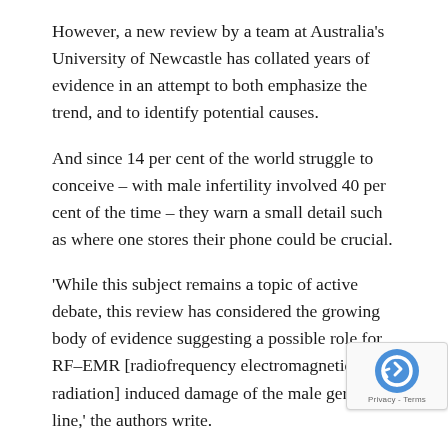However, a new review by a team at Australia's University of Newcastle has collated years of evidence in an attempt to both emphasize the trend, and to identify potential causes.
And since 14 per cent of the world struggle to conceive – with male infertility involved 40 per cent of the time – they warn a small detail such as where one stores their phone could be crucial.
'While this subject remains a topic of active debate, this review has considered the growing body of evidence suggesting a possible role for RF–EMR [radiofrequency electromagnetic radiation] induced damage of the male germ line,' the authors write.
'In a majority of studies, this damage has been characterized by loss of sperm motility and viability as well as the induction of ROS generation and DNA damage.'
The authors reviewed 27 studies. Twenty-one of them